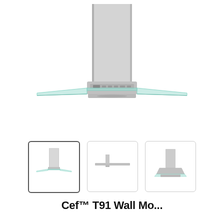[Figure (photo): Main product image of a stainless steel wall-mounted range hood with flat glass canopy, front-facing view, shown in white background]
[Figure (photo): Thumbnail image 1 (selected): Range hood front view thumbnail with border]
[Figure (photo): Thumbnail image 2: Range hood side/profile view, very slim horizontal silhouette]
[Figure (photo): Thumbnail image 3: Range hood perspective/angled view from below]
Cef™ T91 Wall Mo...